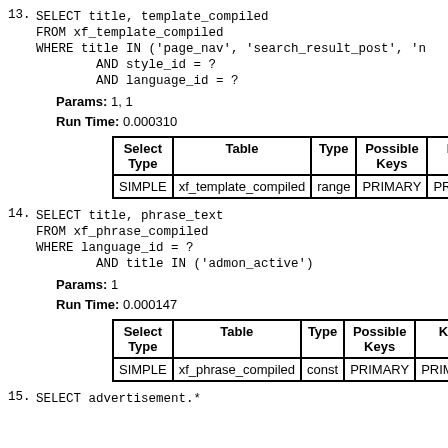13. SELECT title, template_compiled
    FROM xf_template_compiled
    WHERE title IN ('page_nav', 'search_result_post', 'n
            AND style_id = ?
            AND language_id = ?
Params: 1, 1
Run Time: 0.000310
| Select Type | Table | Type | Possible Keys | Key |
| --- | --- | --- | --- | --- |
| SIMPLE | xf_template_compiled | range | PRIMARY | PRIMARY |
14. SELECT title, phrase_text
    FROM xf_phrase_compiled
    WHERE language_id = ?
            AND title IN ('admon_active')
Params: 1
Run Time: 0.000147
| Select Type | Table | Type | Possible Keys | Key |
| --- | --- | --- | --- | --- |
| SIMPLE | xf_phrase_compiled | const | PRIMARY | PRIMARY |
15. SELECT advertisement.*